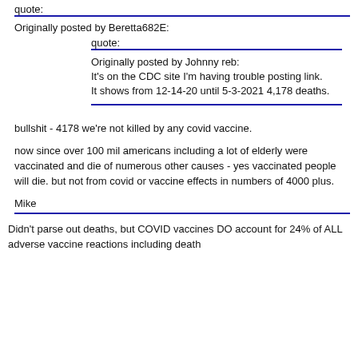quote:
Originally posted by Beretta682E:
quote:
Originally posted by Johnny reb:
It's on the CDC site I'm having trouble posting link.
It shows from 12-14-20 until 5-3-2021 4,178 deaths.
bullshit - 4178 we're not killed by any covid vaccine.
now since over 100 mil americans including a lot of elderly were vaccinated and die of numerous other causes - yes vaccinated people will die. but not from covid or vaccine effects in numbers of 4000 plus.
Mike
Didn't parse out deaths, but COVID vaccines DO account for 24% of ALL adverse vaccine reactions including death